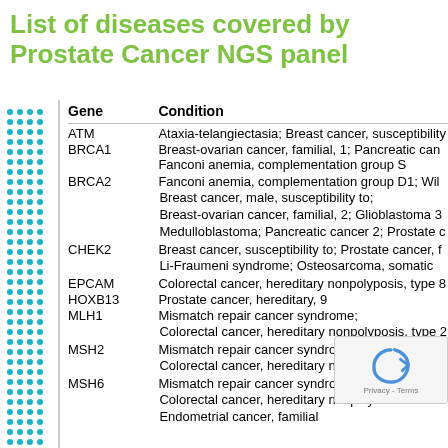List of diseases covered by Prostate Cancer NGS panel
| Gene | Condition |
| --- | --- |
| ATM | Ataxia-telangiectasia; Breast cancer, susceptibility to; |
| BRCA1 | Breast-ovarian cancer, familial, 1; Pancreatic cancer, |
|  | Fanconi anemia, complementation group S |
| BRCA2 | Fanconi anemia, complementation group D1; Wilms tumor; |
|  | Breast cancer, male, susceptibility to; |
|  | Breast-ovarian cancer, familial, 2; Glioblastoma 3; |
|  | Medulloblastoma; Pancreatic cancer 2; Prostate cancer |
| CHEK2 | Breast cancer, susceptibility to; Prostate cancer, familial; |
|  | Li-Fraumeni syndrome; Osteosarcoma, somatic |
| EPCAM | Colorectal cancer, hereditary nonpolyposis, type 8; |
| HOXB13 | Prostate cancer, hereditary, 9 |
| MLH1 | Mismatch repair cancer syndrome; |
|  | Colorectal cancer, hereditary nonpolyposis, type 2; |
| MSH2 | Mismatch repair cancer syndrome; |
|  | Colorectal cancer, hereditary nonpolyposis, |
| MSH6 | Mismatch repair cancer syndrome; |
|  | Colorectal cancer, hereditary nonpolyposis, |
|  | Endometrial cancer, familial |